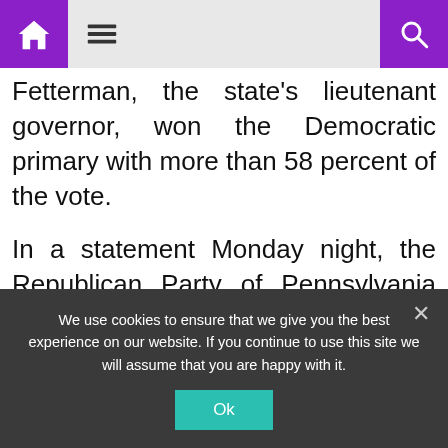Navigation bar with home, menu, and search icons
Fetterman, the state's lieutenant governor, won the Democratic primary with more than 58 percent of the vote.
In a statement Monday night, the Republican Party of Pennsylvania also weighed in on the mail-in ballot debate and sided with Oz.
“While the Republican Party of Pennsylvania looks
We use cookies to ensure that we give you the best experience on our website. If you continue to use this site we will assume that you are happy with it.